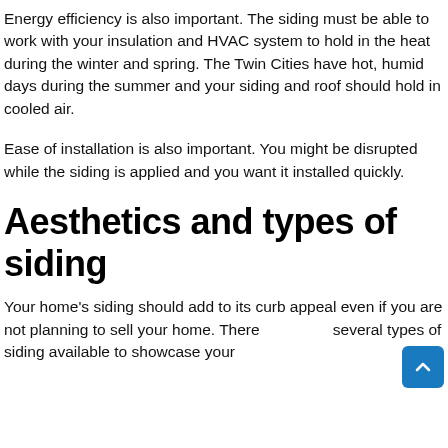Energy efficiency is also important. The siding must be able to work with your insulation and HVAC system to hold in the heat during the winter and spring. The Twin Cities have hot, humid days during the summer and your siding and roof should hold in cooled air.
Ease of installation is also important. You might be disrupted while the siding is applied and you want it installed quickly.
Aesthetics and types of siding
Your home's siding should add to its curb appeal even if you are not planning to sell your home. There are several types of siding available to showcase your